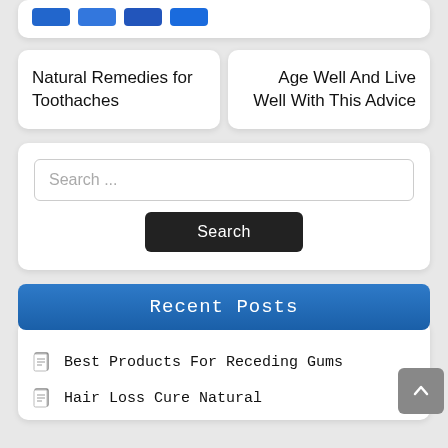[Figure (screenshot): Top card with four blue social share buttons partially visible]
Natural Remedies for Toothaches
Age Well And Live Well With This Advice
Search ...
Search
Recent Posts
Best Products For Receding Gums
Hair Loss Cure Natural